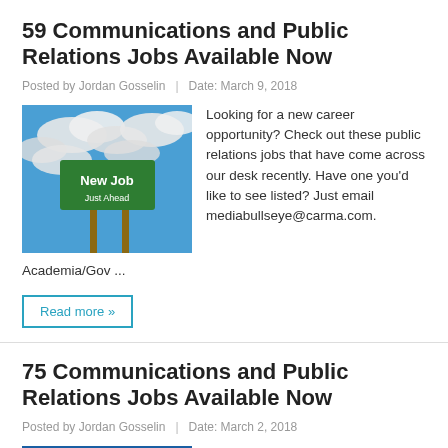59 Communications and Public Relations Jobs Available Now
Posted by Jordan Gosselin  |  Date: March 9, 2018
[Figure (photo): Green road sign reading 'New Job Just Ahead' against a blue cloudy sky]
Looking for a new career opportunity? Check out these public relations jobs that have come across our desk recently. Have one you'd like to see listed? Just email mediabullseye@carma.com. Academia/Gov ...
Read more »
75 Communications and Public Relations Jobs Available Now
Posted by Jordan Gosselin  |  Date: March 2, 2018
[Figure (photo): Partial view of a job-related image with blue background]
Looking for a new career opportunity? Check out...